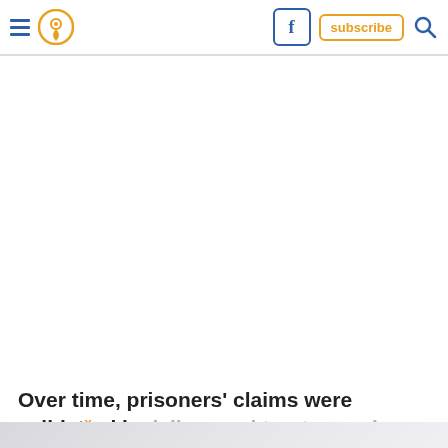[navigation bar with hamburger menu, location pin icon, Facebook icon, subscribe button, search icon]
Over time, prisoners' claims were validated by jailers and trustees, who had some inexplicable experiences of their own.